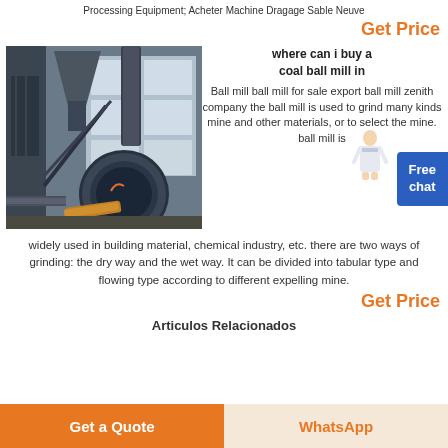Processing Equipment; Acheter Machine Dragage Sable Neuve
Get Price
[Figure (photo): Industrial ball mill machine in a factory setting, showing large cylindrical equipment with metal components, pipes, and structural frames in a dusty indoor environment.]
where can i buy a coal ball mill in
Ball mill ball mill for sale export ball mill zenith company the ball mill is used to grind many kinds mine and other materials, or to select the mine. ball mill is widely used in building material, chemical industry, etc. there are two ways of grinding: the dry way and the wet way. It can be divided into tabular type and flowing type according to different expelling mine.
Get Price
Articulos Relacionados
Get a Quote
WhatsApp